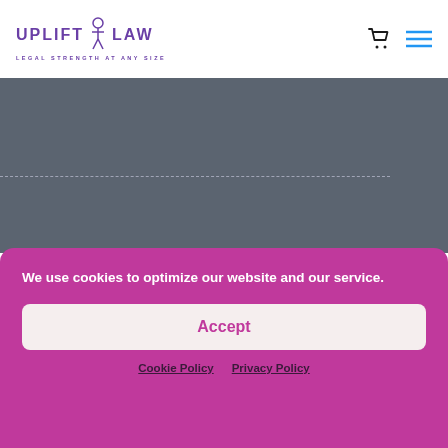[Figure (logo): Uplift Law logo with figure icon and tagline 'Legal Strength at Any Size']
[Figure (screenshot): Website header navigation with cart icon and hamburger menu icon]
[Figure (photo): Dark gray/blue hero background area with faint dashed horizontal line]
We use cookies to optimize our website and our service.
Accept
Cookie Policy   Privacy Policy